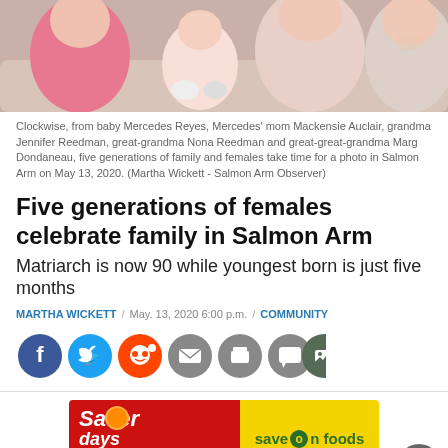[Figure (photo): Photo of five generations of family females sitting together on a couch]
Clockwise, from baby Mercedes Reyes, Mercedes' mom Mackensie Auclair, grandma Jennifer Reedman, great-grandma Nona Reedman and great-great-grandma Marg Dondaneau, five generations of family and females take time for a photo in Salmon Arm on May 13, 2020. (Martha Wickett - Salmon Arm Observer)
Five generations of females celebrate family in Salmon Arm
Matriarch is now 90 while youngest born is just five months
MARTHA WICKETT / May. 13, 2020 6:00 p.m. / COMMUNITY
[Figure (infographic): Social media share buttons: Facebook, Twitter, Reddit, Email, Print, Comment, Gallery]
[Figure (infographic): Save On Foods advertisement banner with Saver Days promotion and Shop Now button]